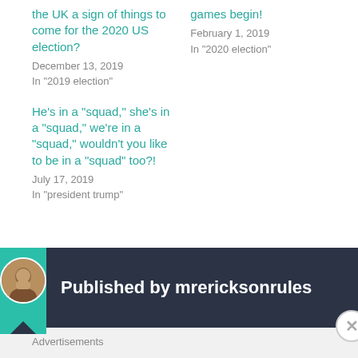the UK a sign of things to come for the 2020 US election?
December 13, 2019
In "2019 election"
games begin!
February 1, 2019
In "2020 election"
He's in a "squad," she's in a "squad," we're in a "squad," wouldn't you like to be in a "squad" too?!
July 17, 2019
In "president trump"
Published by mrericksonrules
Advertisements